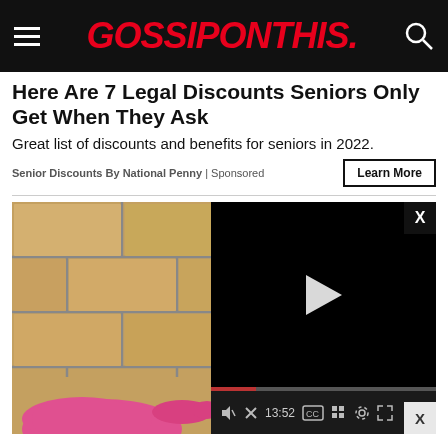GOSSIPONTHIS.
Here Are 7 Legal Discounts Seniors Only Get When They Ask
Great list of discounts and benefits for seniors in 2022.
Senior Discounts By National Penny | Sponsored
[Figure (screenshot): Video player showing a pink-gloved hand pointing at bathroom tile grout. Video controls show 13:52 duration. There are close (X) buttons in the top-right and bottom-right corners.]